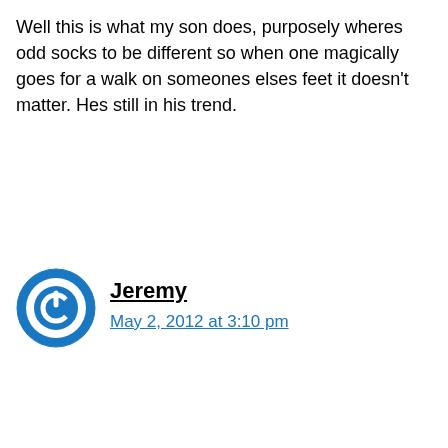Well this is what my son does, purposely wheres odd socks to be different so when one magically goes for a walk on someones elses feet it doesn't matter. Hes still in his trend.
Jeremy
May 2, 2012 at 3:10 pm